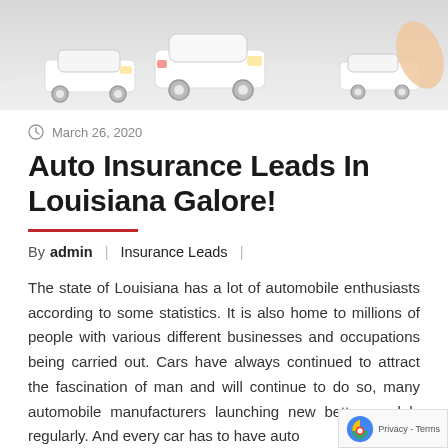[Figure (photo): Photo of white toy/model cars on a white/light grey curved surface, partially cropped at top of page]
March 26, 2020
Auto Insurance Leads In Louisiana Galore!
By admin  |  Insurance Leads  |
The state of Louisiana has a lot of automobile enthusiasts according to some statistics. It is also home to millions of people with various different businesses and occupations being carried out. Cars have always continued to attract the fascination of man and will continue to do so, many automobile manufacturers launching new better models regularly. And every car has to have auto